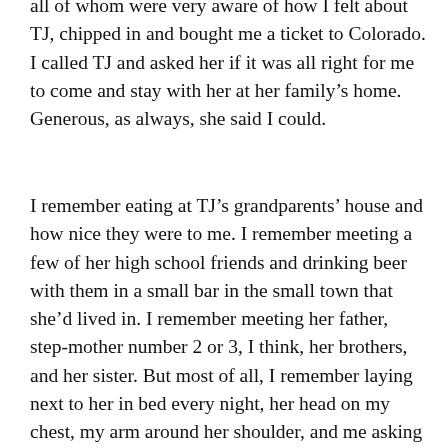all of whom were very aware of how I felt about TJ, chipped in and bought me a ticket to Colorado. I called TJ and asked her if it was all right for me to come and stay with her at her family's home. Generous, as always, she said I could.
I remember eating at TJ's grandparents' house and how nice they were to me. I remember meeting a few of her high school friends and drinking beer with them in a small bar in the small town that she'd lived in. I remember meeting her father, step-mother number 2 or 3, I think, her brothers, and her sister. But most of all, I remember laying next to her in bed every night, her head on my chest, my arm around her shoulder, and me asking her if she loved me yet. Her answer was always the same, “not yet. Ask me tomorrow.” I would kiss the top of her head and hold her through the night. She would sometimes cry on my shoulder but would never tell me why. I hoped I knew but never asked. I just held her